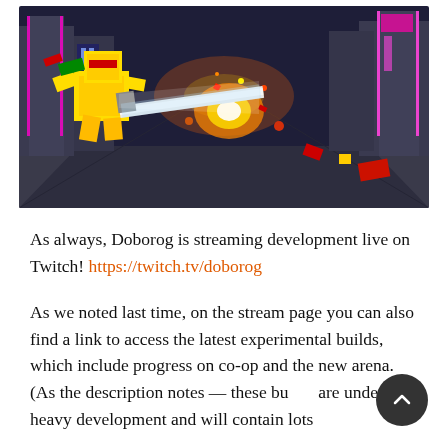[Figure (screenshot): Screenshot of a video game (Doborog) showing a blocky yellow robot character swinging a large sword in a neon-lit cyberpunk arena with explosions and colorful particle effects.]
As always, Doborog is streaming development live on Twitch! https://twitch.tv/doborog
As we noted last time, on the stream page you can also find a link to access the latest experimental builds, which include progress on co-op and the new arena. (As the description notes — these bu[ilds] are under heavy development and will contain lots